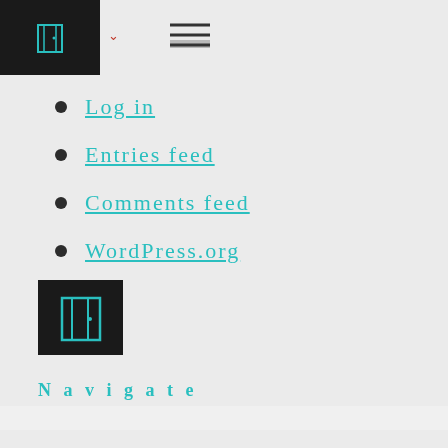[Figure (logo): Dark square logo with teal door/room icon and navigation elements including hamburger menu]
Log in
Entries feed
Comments feed
WordPress.org
[Figure (logo): Dark square with teal door/window icon]
Navigate